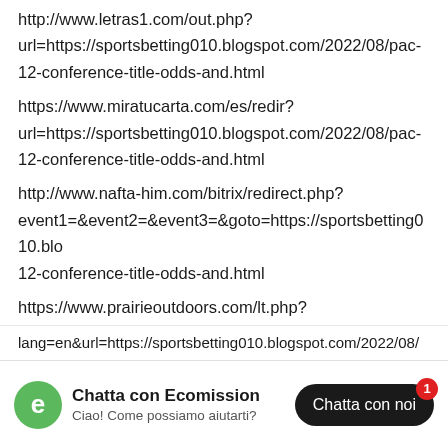http://www.letras1.com/out.php?url=https://sportsbetting010.blogspot.com/2022/08/pac-12-conference-title-odds-and.html
https://www.miratucarta.com/es/redir?url=https://sportsbetting010.blogspot.com/2022/08/pac-12-conference-title-odds-and.html
http://www.nafta-him.com/bitrix/redirect.php?event1=&event2=&event3=&goto=https://sportsbetting010.blo...12-conference-title-odds-and.html
https://www.prairieoutdoors.com/lt.php?lt=https://sportsbetting010.blogspot.com/2022/08/pac-12-conference-title-odds-and.html
http://www.prismotri.com/url.php?url=https://sportsbetting010.blogspot.com/2022/08/pac...
lang=en&url=https://sportsbetting010.blogspot.com/2022/08/